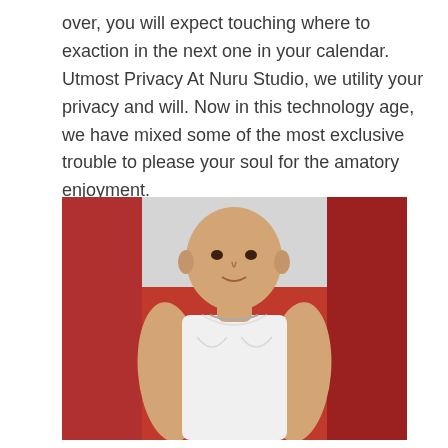over, you will expect touching where to exaction in the next one in your calendar. Utmost Privacy At Nuru Studio, we utility your privacy and will. Now in this technology age, we have mixed some of the most exclusive trouble to please your soul for the amatory enjoyment.
[Figure (photo): A muscular bald man wearing a white sleeveless tank top and a chain necklace, posed against a red background.]